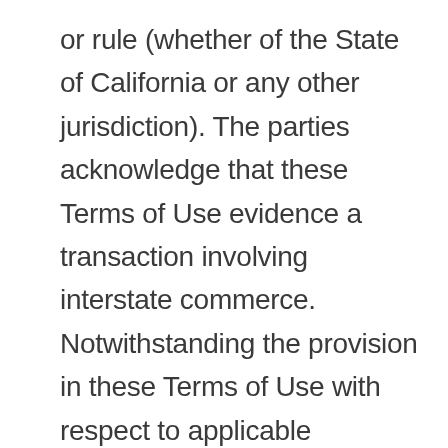or rule (whether of the State of California or any other jurisdiction). The parties acknowledge that these Terms of Use evidence a transaction involving interstate commerce. Notwithstanding the provision in these Terms of Use with respect to applicable substantive law, any arbitration conducted pursuant to the terms of this Agreement shall be governed by the Federal Arbitration Act (9 U.S.C., Secs. 1-16).